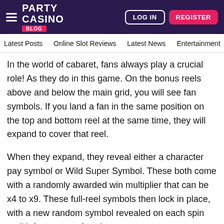Party Casino Blog — LOG IN | REGISTER
Latest Posts  Online Slot Reviews  Latest News  Entertainment  Ta
In the world of cabaret, fans always play a crucial role! As they do in this game. On the bonus reels above and below the main grid, you will see fan symbols. If you land a fan in the same position on the top and bottom reel at the same time, they will expand to cover that reel.
When they expand, they reveal either a character pay symbol or Wild Super Symbol. These both come with a randomly awarded win multiplier that can be x4 to x9. These full-reel symbols then lock in place, with a new random symbol revealed on each spin until it forms part of a win.
If you reveal a Wild Super Symbol, it will remain locked until it